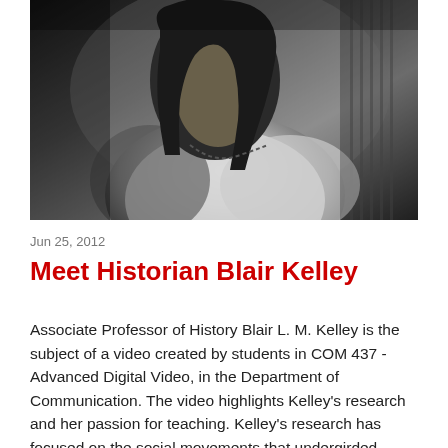[Figure (photo): Black and white photograph of historian Blair Kelley, showing a person with long dark hair and a beaded necklace, wearing a white top, photographed from the side/front in a noir style.]
Jun 25, 2012
Meet Historian Blair Kelley
Associate Professor of History Blair L. M. Kelley is the subject of a video created by students in COM 437 - Advanced Digital Video, in the Department of Communication. The video highlights Kelley's research and her passion for teaching. Kelley's research has focused on the social movements that undergirded change for African Americans. Among the courses she teaches are oral history and the civil rights movement. This semester she co-taught "The South in Black and White" with Duke University